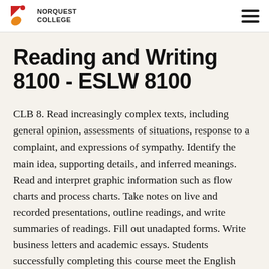NORQUEST COLLEGE
Reading and Writing 8100 - ESLW 8100
CLB 8. Read increasingly complex texts, including general opinion, assessments of situations, response to a complaint, and expressions of sympathy. Identify the main idea, supporting details, and inferred meanings. Read and interpret graphic information such as flow charts and process charts. Take notes on live and recorded presentations, outline readings, and write summaries of readings. Fill out unadapted forms. Write business letters and academic essays. Students successfully completing this course meet the English